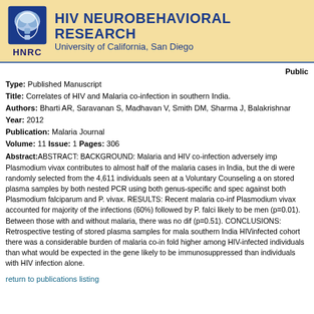[Figure (logo): HIV Neurobehavioral Research Center (HNRC) logo with brain icon and University of California, San Diego header]
Public
Type: Published Manuscript
Title: Correlates of HIV and Malaria co-infection in southern India.
Authors: Bharti AR, Saravanan S, Madhavan V, Smith DM, Sharma J, Balakrishnan
Year: 2012
Publication: Malaria Journal
Volume: 11 Issue: 1 Pages: 306
Abstract:ABSTRACT: BACKGROUND: Malaria and HIV co-infection adversely impacted. Plasmodium vivax contributes to almost half of the malaria cases in India, but the di were randomly selected from the 4,611 individuals seen at a Voluntary Counseling a on stored plasma samples by both nested PCR using both genus-specific and spec against both Plasmodium falciparum and P. vivax. RESULTS: Recent malaria co-inf Plasmodium vivax accounted for majority of the infections (60%) followed by P. falci likely to be men (p=0.01). Between those with and without malaria, there was no dif (p=0.51). CONCLUSIONS: Retrospective testing of stored plasma samples for mala southern India HIVinfected cohort there was a considerable burden of malaria co-in fold higher among HIV-infected individuals than what would be expected in the gene likely to be immunosuppressed than individuals with HIV infection alone.
return to publications listing